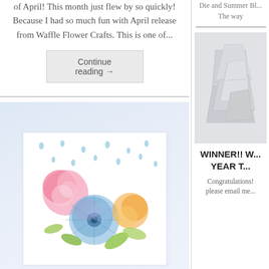of April! This month just flew by so quickly! Because I had so much fun with April release from Waffle Flower Crafts. This is one of...
Continue reading →
[Figure (illustration): Handmade greeting card with colorful watercolor flowers (pink, blue/purple dahlia, orange) on a light blue background with rain drop pattern]
Die and Summer Bl... The way
[Figure (photo): White paper folded/origami sculptural arrangement on light background, right column sidebar image]
WINNER!! W... YEAR T...
Congratulations! please email me...